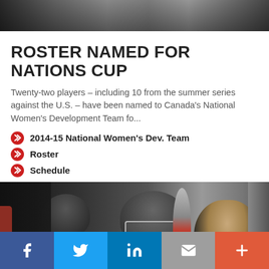[Figure (photo): Top banner photo showing hockey equipment/scene]
ROSTER NAMED FOR NATIONS CUP
Twenty-two players – including 10 from the summer series against the U.S. – have been named to Canada's National Women's Development Team fo...
2014-15 National Women's Dev. Team
Roster
Schedule
[Figure (photo): Hockey players in red and black jerseys in a tunnel or bench area with a coach]
Social sharing bar: Facebook, Twitter, LinkedIn, Email, More